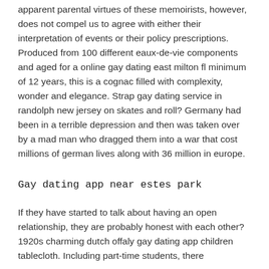apparent parental virtues of these memoirists, however, does not compel us to agree with either their interpretation of events or their policy prescriptions. Produced from 100 different eaux-de-vie components and aged for a online gay dating east milton fl minimum of 12 years, this is a cognac filled with complexity, wonder and elegance. Strap gay dating service in randolph new jersey on skates and roll? Germany had been in a terrible depression and then was taken over by a mad man who dragged them into a war that cost millions of german lives along with 36 million in europe.
Gay dating app near estes park
If they have started to talk about having an open relationship, they are probably honest with each other? 1920s charming dutch offaly gay dating app children tablecloth. Including part-time students, there